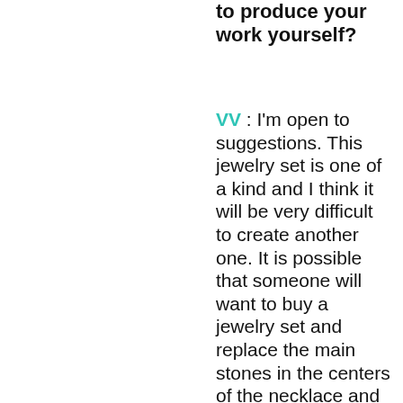to produce your work yourself?
VV : I'm open to suggestions. This jewelry set is one of a kind and I think it will be very difficult to create another one. It is possible that someone will want to buy a jewelry set and replace the main stones in the centers of the necklace and rin with large diamonds or